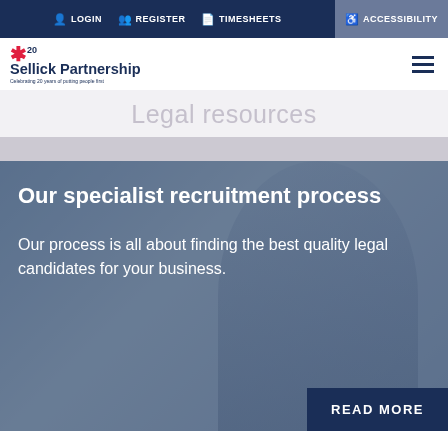LOGIN  REGISTER  TIMESHEETS  ACCESSIBILITY
[Figure (logo): Sellick Partnership logo with star icon and '20' superscript, celebrating 20 years of putting people first]
Legal resources
Our specialist recruitment process
Our process is all about finding the best quality legal candidates for your business.
READ MORE